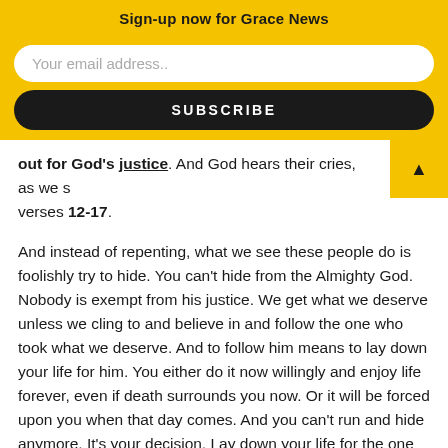Sign-up now for Grace News
Your email address..
SUBSCRIBE
out for God's justice. And God hears their cries, as we see in verses 12-17.
And instead of repenting, what we see these people do is foolishly try to hide. You can't hide from the Almighty God. Nobody is exempt from his justice. We get what we deserve unless we cling to and believe in and follow the one who took what we deserve. And to follow him means to lay down your life for him. You either do it now willingly and enjoy life forever, even if death surrounds you now. Or it will be forced upon you when that day comes. And you can't run and hide anymore. It's your decision. Lay down your life for the one who laid down his life for you.